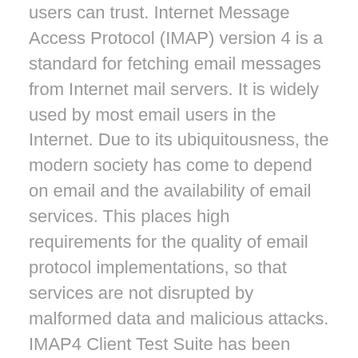users can trust. Internet Message Access Protocol (IMAP) version 4 is a standard for fetching email messages from Internet mail servers. It is widely used by most email users in the Internet. Due to its ubiquitousness, the modern society has come to depend on email and the availability of email services. This places high requirements for the quality of email protocol implementations, so that services are not disrupted by malformed data and malicious attacks. IMAP4 Client Test Suite has been developed for testing IMAP version 4 client implementations for current and future security flaws and robustness problems. It is an automated black-box negative testing solution that combines unparalleled testing efficiency with a proven track record and superior technological design. The test